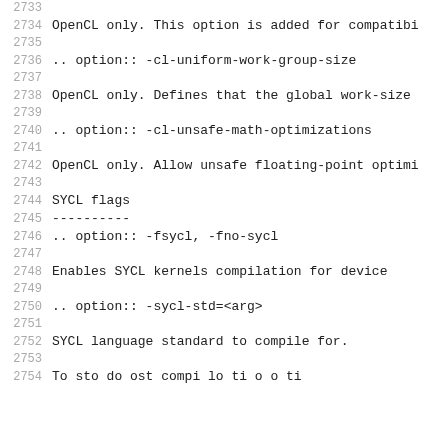2733
2734   OpenCL only. This option is added for compatibi
2735
2736   .. option:: -cl-uniform-work-group-size
2737
2738   OpenCL only. Defines that the global work-size
2739
2740   .. option:: -cl-unsafe-math-optimizations
2741
2742   OpenCL only. Allow unsafe floating-point optimi
2743
2744   SYCL flags
2745   ----------
2746   .. option:: -fsycl, -fno-sycl
2747
2748   Enables SYCL kernels compilation for device
2749
2750   .. option:: -sycl-std=<arg>
2751
2752   SYCL language standard to compile for.
2753
2754   ...